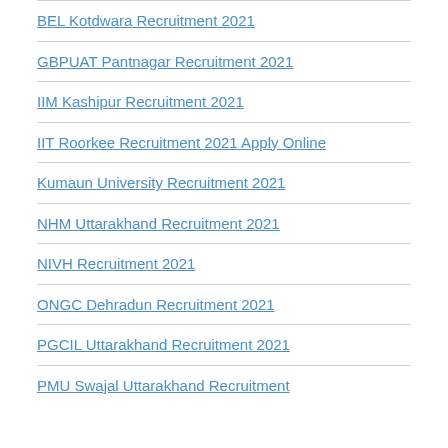BEL Kotdwara Recruitment 2021
GBPUAT Pantnagar Recruitment 2021
IIM Kashipur Recruitment 2021
IIT Roorkee Recruitment 2021 Apply Online
Kumaun University Recruitment 2021
NHM Uttarakhand Recruitment 2021
NIVH Recruitment 2021
ONGC Dehradun Recruitment 2021
PGCIL Uttarakhand Recruitment 2021
PMU Swajal Uttarakhand Recruitment